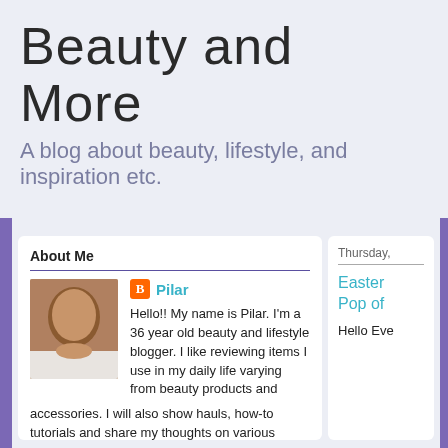Beauty and More
A blog about beauty, lifestyle, and inspiration etc.
About Me
Pilar
Hello!! My name is Pilar. I'm a 36 year old beauty and lifestyle blogger. I like reviewing items I use in my daily life varying from beauty products and accessories. I will also show hauls, how-to tutorials and share my thoughts on various subjects pertaining to my interests :) Thanks for stopping by! Feel free to follow me on social media!
View my complete profile
Thursday,
Easter Pop of
Hello Eve